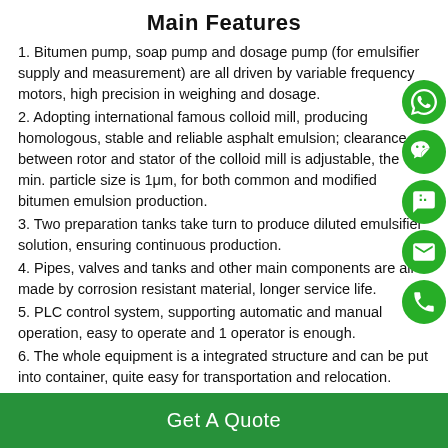Main Features
1. Bitumen pump, soap pump and dosage pump (for emulsifier supply and measurement) are all driven by variable frequency motors, high precision in weighing and dosage.
2. Adopting international famous colloid mill, producing homologous, stable and reliable asphalt emulsion; clearance between rotor and stator of the colloid mill is adjustable, the min. particle size is 1μm, for both common and modified bitumen emulsion production.
3. Two preparation tanks take turn to produce diluted emulsifier solution, ensuring continuous production.
4. Pipes, valves and tanks and other main components are all made by corrosion resistant material, longer service life.
5. PLC control system, supporting automatic and manual operation, easy to operate and 1 operator is enough.
6. The whole equipment is a integrated structure and can be put into container, quite easy for transportation and relocation.
Get A Quote